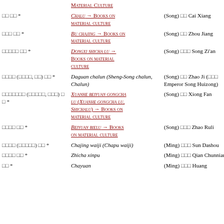| CJK | Title/Link | Author |
| --- | --- | --- |
|  | MATERIAL CULTURE |  |
| □□ □□ * | CHALU → BOOKS ON MATERIAL CULTURE | (Song) □□ Cai Xiang |
| □□□ □□ * | BU CHAJING → BOOKS ON MATERIAL CULTURE | (Song) □□ Zhou Jiang |
| □□□□□ □□ * | DONGXI SHICHA LU → BOOKS ON MATERIAL CULTURE | (Song) □□□ Song Zi'an |
| □□□□ (□□□□, □□) □□ * | Daguan chalun (Sheng-Song chalun, Chalun) | (Song) □□ Zhao Ji (□□□ Emperor Song Huizong) |
| □□□□□□□ (□□□□□, □□□) □□ * | XUANHE BEIYUAN GONGCHA LU (Xuanhe gongcha lu, Shichalu) → BOOKS ON MATERIAL CULTURE | (Song) □□ Xiong Fan |
| □□□□ □□ * | BEIYUAN BIELU → BOOKS ON MATERIAL CULTURE | (Song) □□□ Zhao Ruli |
| □□□□ (□□□□□) □□ * | Chajing waiji (Chapu waiji) | (Ming) □□□ Sun Dashou |
| □□□□ □□ * | Zhicha xinpu | (Ming) □□□ Qian Chunnian |
| □□ * | Chayuan | (Ming) □□□ Huang |